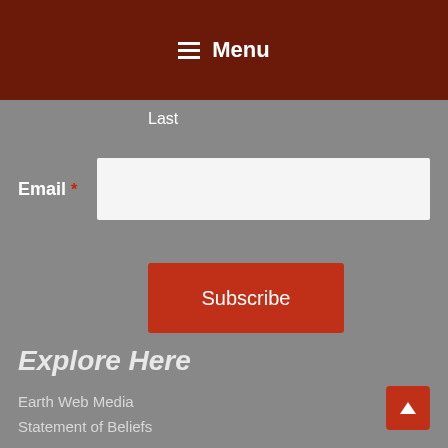Menu
Last
Email *
Subscribe
Explore Here
Earth Web Media
Statement of Beliefs